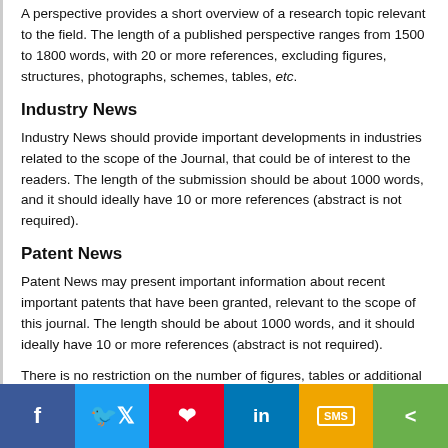A perspective provides a short overview of a research topic relevant to the field. The length of a published perspective ranges from 1500 to 1800 words, with 20 or more references, excluding figures, structures, photographs, schemes, tables, etc.
Industry News
Industry News should provide important developments in industries related to the scope of the Journal, that could be of interest to the readers. The length of the submission should be about 1000 words, and it should ideally have 10 or more references (abstract is not required).
Patent News
Patent News may present important information about recent important patents that have been granted, relevant to the scope of this journal. The length should be about 1000 words, and it should ideally have 10 or more references (abstract is not required).
There is no restriction on the number of figures, tables or additional files e.g. video clips, animation and datasets, that can be included with each article online. Authors should include all relevant supporting data with each article (Refer to Supplementary Material section).